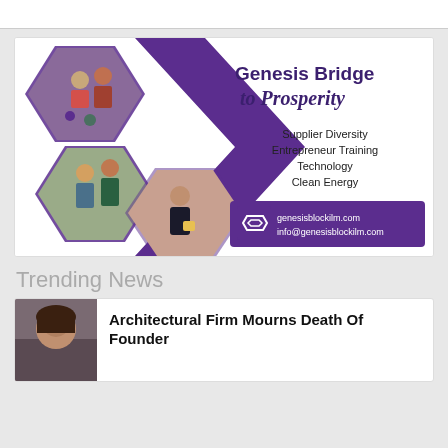[Figure (infographic): Genesis Bridge to Prosperity advertisement with hexagonal photo collage on left (people at events, entrepreneur), purple diagonal design elements, text listing Supplier Diversity, Entrepreneur Training, Technology, Clean Energy, and contact info genesisblockilm.com / info@genesisblockilm.com]
Trending News
[Figure (photo): Photo of a person (appears to be a woman) in the bottom news section thumbnail]
Architectural Firm Mourns Death Of Founder